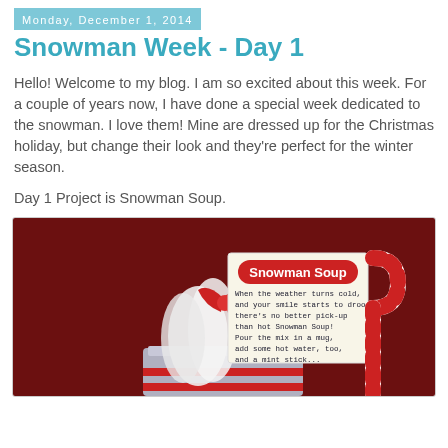Monday, December 1, 2014
Snowman Week - Day 1
Hello!  Welcome to my blog.  I am so excited about this week.  For a couple of years now, I have done a special week dedicated to the snowman.  I love them!  Mine are dressed up for the Christmas holiday, but change their look and they're perfect for the winter season.
Day 1 Project is Snowman Soup.
[Figure (photo): A tin can/mug filled with a Snowman Soup kit: white tissue paper, a red ribbon, and a candy cane (red and white striped), with a card that reads 'Snowman Soup' in red bubble letters and a poem: 'When the weather turns cold, and your smile starts to droop, there's no better pick-up than hot Snowman Soup! Pour the mix in a mug, add some hot water, too, and a mint stick...' on a dark red/maroon background.]